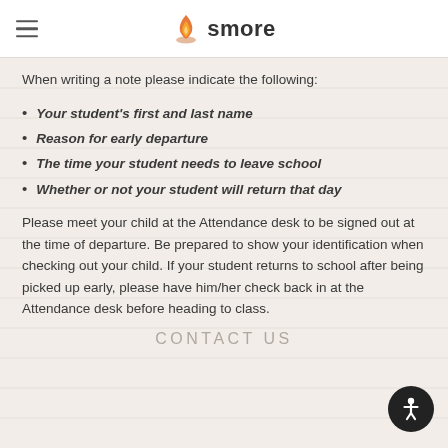smore
When writing a note please indicate the following:
Your student's first and last name
Reason for early departure
The time your student needs to leave school
Whether or not your student will return that day
Please meet your child at the Attendance desk to be signed out at the time of departure. Be prepared to show your identification when checking out your child. If your student returns to school after being picked up early, please have him/her check back in at the Attendance desk before heading to class.
CONTACT US